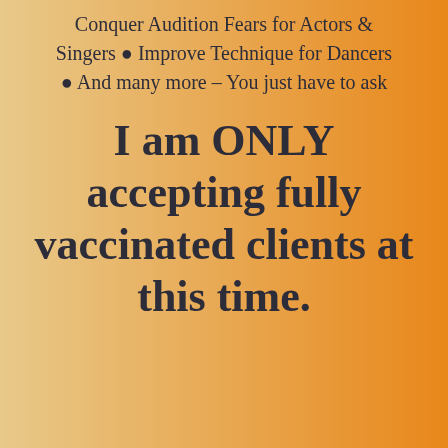Conquer Audition Fears for Actors & Singers ● Improve Technique for Dancers ● And many more – You just have to ask
I am ONLY accepting fully vaccinated clients at this time.